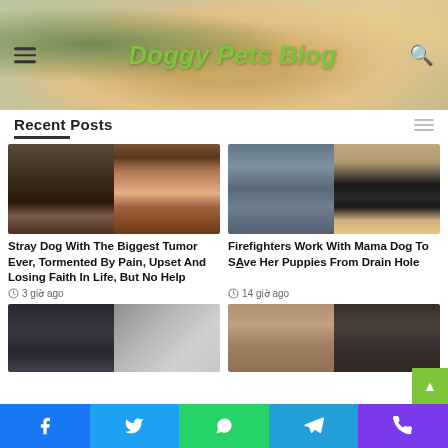[Figure (screenshot): Website header with 'Doggy Pets Blog' logo on food/pet themed banner image with hamburger menu and search icon]
Recent Posts
[Figure (photo): Two photos of stray dog with large tumor]
Stray Dog With The Biggest Tumor Ever, Tormented By Pain, Upset And Losing Faith In Life, But No Help
3 giờ ago
[Figure (photo): Two photos of firefighters working with mama dog near drain]
Firefighters Work With Mama Dog To SAve Her Puppies From Drain Hole
14 giờ ago
[Figure (photo): Two partial photos at bottom of page]
[Figure (photo): Two partial photos at bottom right of page]